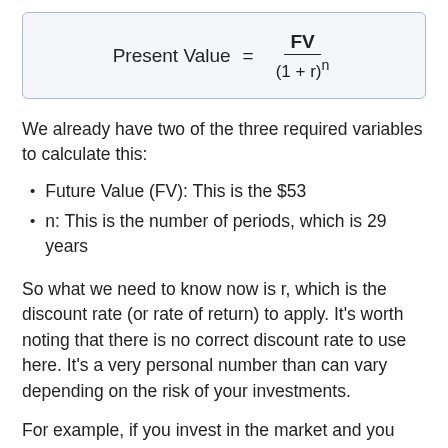We already have two of the three required variables to calculate this:
Future Value (FV): This is the $53
n: This is the number of periods, which is 29 years
So what we need to know now is r, which is the discount rate (or rate of return) to apply. It's worth noting that there is no correct discount rate to use here. It's a very personal number than can vary depending on the risk of your investments.
For example, if you invest in the market and you